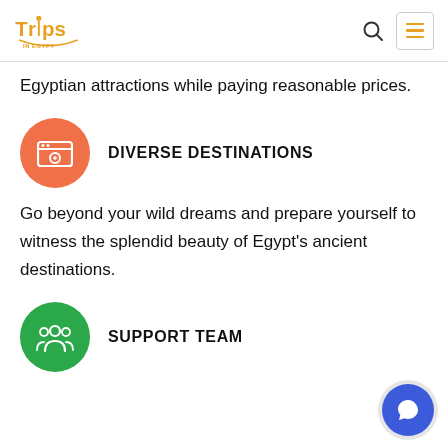Trips In Egypt — navigation header with logo, search icon, and menu button
Egyptian attractions while paying reasonable prices.
DIVERSE DESTINATIONS
[Figure (illustration): Orange circle icon with a camera/photo frame symbol in white]
Go beyond your wild dreams and prepare yourself to witness the splendid beauty of Egypt's ancient destinations.
SUPPORT TEAM
[Figure (illustration): Green circle icon with a group/team people symbol in white]
[Figure (illustration): Blue circular chat button at bottom right with speech bubble icon]